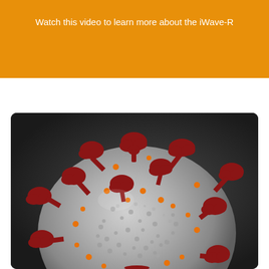Watch this video to learn more about the iWave-R
[Figure (photo): Close-up illustration/render of a coronavirus particle showing a gray spherical body covered with red spike proteins and orange smaller protrusions, on a dark gray background]